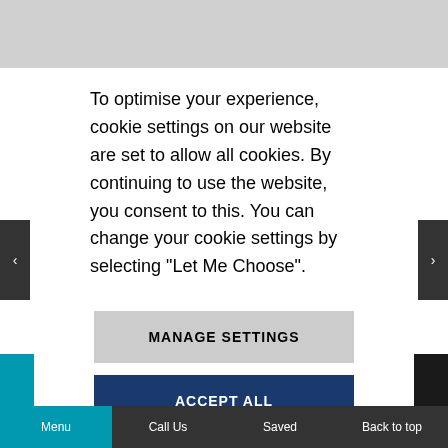[Figure (screenshot): Gray top bar area of a website screenshot]
To optimise your experience, cookie settings on our website are set to allow all cookies. By continuing to use the website, you consent to this. You can change your cookie settings by selecting “Let Me Choose”.
MANAGE SETTINGS
ACCEPT ALL
Menu  Call Us  Saved  Back to top